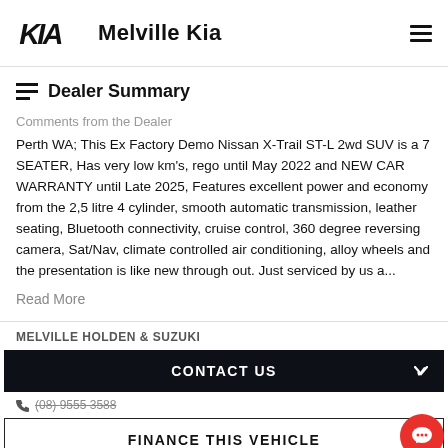Melville Kia
Dealer Summary
Comments from the Dealer
Perth WA; This Ex Factory Demo Nissan X-Trail ST-L 2wd SUV is a 7 SEATER, Has very low km's, rego until May 2022 and NEW CAR WARRANTY until Late 2025, Features excellent power and economy from the 2.5 litre 4 cylinder, smooth automatic transmission, leather seating, Bluetooth connectivity, cruise control, 360 degree reversing camera, Sat/Nav, climate controlled air conditioning, alloy wheels and the presentation is like new through out. Just serviced by us a...
Read More
MELVILLE HOLDEN & SUZUKI
CONTACT US
(08) 9555 3588
FINANCE THIS VEHICLE